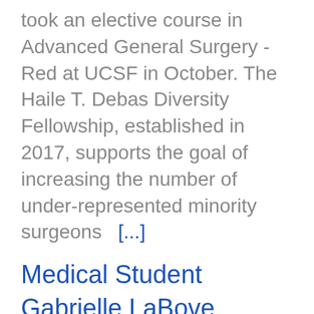took an elective course in Advanced General Surgery - Red at UCSF in October. The Haile T. Debas Diversity Fellowship, established in 2017, supports the goal of increasing the number of under-represented minority surgeons  [...]
Medical Student Gabrielle LaBove Selected as Inaugural Recipient of Haile T. Debas Diversity Fellowship Award